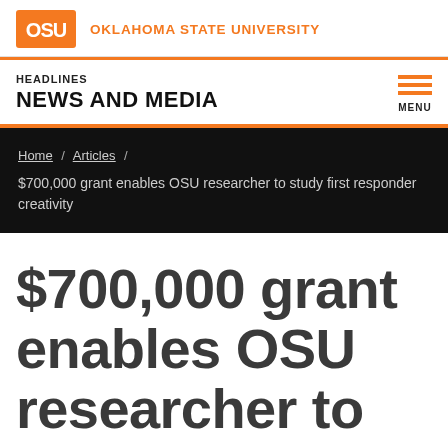OKLAHOMA STATE UNIVERSITY
HEADLINES
NEWS AND MEDIA
Home / Articles / $700,000 grant enables OSU researcher to study first responder creativity
$700,000 grant enables OSU researcher to